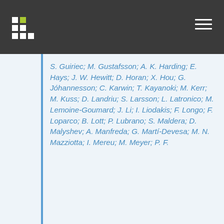S. Guiriec; M. Gustafsson; A. K. Harding; E. Hays; J. W. Hewitt; D. Horan; X. Hou; G. Jóhannesson; C. Karwin; T. Kayanoki; M. Kerr; M. Kuss; D. Landriu; S. Larsson; L. Latronico; M. Lemoine-Goumard; J. Li; I. Liodakis; F. Longo; F. Loparco; B. Lott; P. Lubrano; S. Maldera; D. Malyshev; A. Manfreda; G. Martí-Devesa; M. N. Mazziotta; I. Mereu; M. Meyer; P. F.